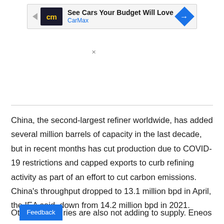[Figure (screenshot): CarMax advertisement banner with logo, tagline 'See Cars Your Budget Will Love', and a blue directional arrow icon]
China, the second-largest refiner worldwide, has added several million barrels of capacity in the last decade, but in recent months has cut production due to COVID-19 restrictions and capped exports to curb refining activity as part of an effort to cut carbon emissions. China's throughput dropped to 13.1 million bpd in April, the IEA said, down from 14.2 million bpd in 2021.
Other countries are also not adding to supply. Eneos